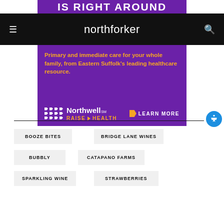[Figure (screenshot): Top portion of a purple advertisement banner showing large white bold text 'IS RIGHT AROUND' on purple background]
≡  northforker  🔍
[Figure (infographic): Northwell Raise Health advertisement on purple background. Text: 'Primary and immediate care for your whole family, from Eastern Suffolk's leading healthcare resource.' Northwell logo with chevron dots. RAISE HEALTH. LEARN MORE button with orange arrow.]
BOOZE BITES
BRIDGE LANE WINES
BUBBLY
CATAPANO FARMS
SPARKLING WINE
STRAWBERRIES